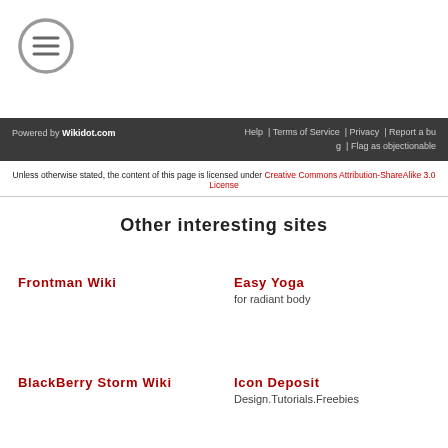[Figure (logo): Menu icon: circle with three horizontal lines (hamburger menu)]
Powered by Wikidot.com   Help | Terms of Service | Privacy | Report a bug | Flag as objectionable
Unless otherwise stated, the content of this page is licensed under Creative Commons Attribution-ShareAlike 3.0 License
Other interesting sites
Frontman Wiki
Easy Yoga
for radiant body
BlackBerry Storm Wiki
Icon Deposit
Design.Tutorials.Freebies